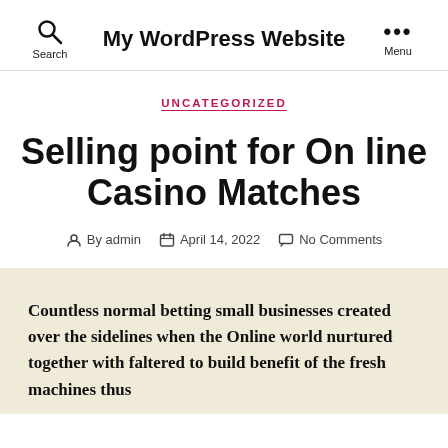My WordPress Website
UNCATEGORIZED
Selling point for On line Casino Matches
By admin  April 14, 2022  No Comments
Countless normal betting small businesses created over the sidelines when the Online world nurtured together with faltered to build benefit of the fresh machines thus